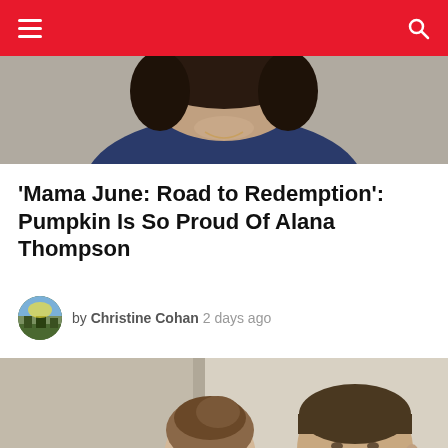Navigation bar with menu and search icons
[Figure (photo): Partial photo of a woman with dark curly hair wearing a blue top, cropped at top of page]
'Mama June: Road to Redemption': Pumpkin Is So Proud Of Alana Thompson
by Christine Cohan  2 days ago
[Figure (photo): Photo of a woman in a white top with her hair up and a man in a black sweater with a beard, standing indoors in what appears to be a living room setting]